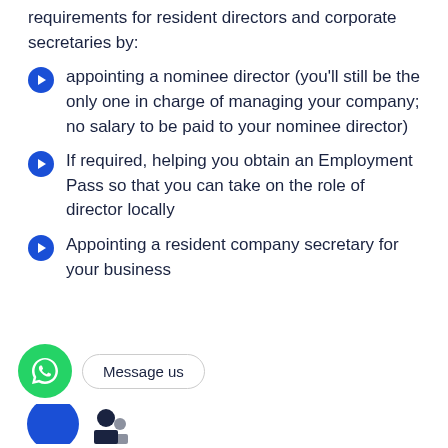requirements for resident directors and corporate secretaries by:
appointing a nominee director (you'll still be the only one in charge of managing your company; no salary to be paid to your nominee director)
If required, helping you obtain an Employment Pass so that you can take on the role of director locally
Appointing a resident company secretary for your business
[Figure (other): WhatsApp icon button (green circle with white phone/chat icon) and a 'Message us' speech bubble button]